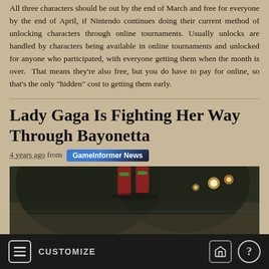All three characters should be out by the end of March and free for everyone by the end of April, if Nintendo continues doing their current method of unlocking characters through online tournaments. Usually unlocks are handled by characters being available in online tournaments and unlocked for anyone who participated, with everyone getting them when the month is over. That means they're also free, but you do have to pay for online, so that's the only "hidden" cost to getting them early.
Lady Gaga Is Fighting Her Way Through Bayonetta
4 years ago from GameInformer News
[Figure (screenshot): Screenshot from Bayonetta showing a dark fantasy game scene with a character's feet/boots visible at top, stone/dark environment, and glowing lights]
CUSTOMIZE